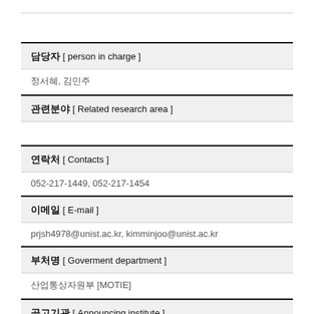담당자 [ person in charge ]
정서혜, 김민주
관련분야 [ Related research area ]
연락처 [ Contacts ]
052-217-1449, 052-217-1454
이메일 [ E-mail ]
prjsh4978@unist.ac.kr, kimminjoo@unist.ac.kr
부처명 [ Goverment department ]
산업통상자원부 [MOTIE]
공고기관 [ Announcing institute ]
한국산업기술지흥원 [KIAT]